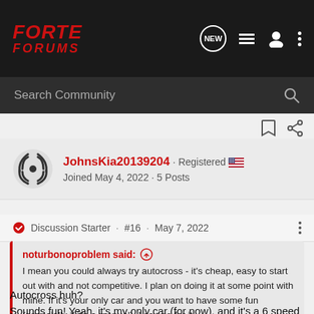FORTE FORUMS
Search Community
JohnsKia20139204 · Registered · Joined May 4, 2022 · 5 Posts
Discussion Starter · #16 · May 7, 2022
noturbonoproblem said: I mean you could always try autocross - it's cheap, easy to start out with and not competitive. I plan on doing it at some point with mine. If it's your only car and you want to have some fun (especially if it's a manual), I say go for it.
Autocross huh?
Sounds fun! Yeah, it's my only car (for now), and it's a 6 speed